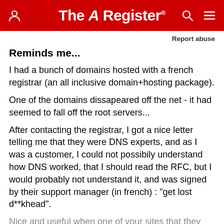The Register
Report abuse
Reminds me...
I had a bunch of domains hosted with a french registrar (an all inclusive domain+hosting package).
One of the domains dissapeared off the net - it had seemed to fall off the root servers...
After contacting the registrar, I got a nice letter telling me that they were DNS experts, and as I was a customer, I could not possibily understand how DNS worked, that I should read the RFC, but I would probably not understand it, and was signed by their support manager (in french) : "get lost d**khead".
Nice and useful when one of your sites that they manage has fallen off the map.
A...